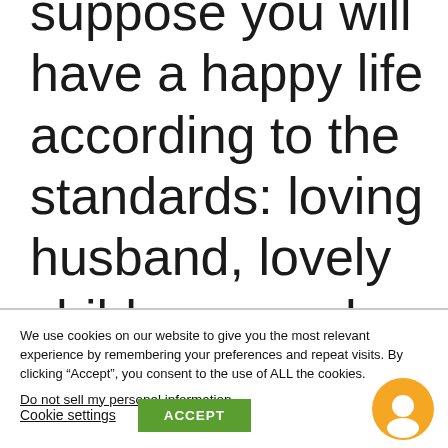suppose you will have a happy life according to the standards: loving husband, lovely children, good job, good friends, and then you die would anything from your whole life have any meaning? Your children and
We use cookies on our website to give you the most relevant experience by remembering your preferences and repeat visits. By clicking “Accept”, you consent to the use of ALL the cookies.
Do not sell my personal information.
Cookie settings
ACCEPT